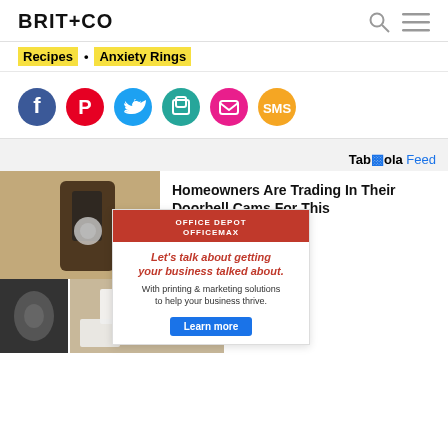BRIT+CO
Recipes • Anxiety Rings
[Figure (infographic): Row of six social share buttons: Facebook (dark blue), Pinterest (red), Twitter (light blue), Copy (teal), Email (pink), SMS (orange)]
Taboola Feed
[Figure (photo): Photo of a doorbell camera on a stucco wall]
Homeowners Are Trading In Their Doorbell Cams For This
Camerca
Learn More
[Figure (infographic): Office Depot OfficeMax advertisement overlay: red header with logo, italic red headline 'Let's talk about getting your business talked about.', subtext 'With printing & marketing solutions to help your business thrive.', blue Learn more button]
[Figure (photo): Bottom row: dark image on left, photo of stationery and crafts on right, partial text 'g Over']